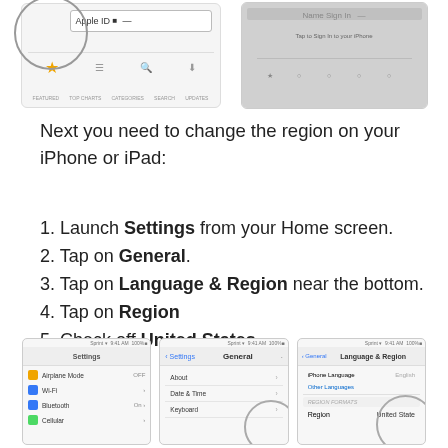[Figure (screenshot): Two iOS App Store screenshots side by side, left one showing Apple ID highlighted with a circle, right one showing a darker version of an app listing]
Next you need to change the region on your iPhone or iPad:
1. Launch Settings from your Home screen.
2. Tap on General.
3. Tap on Language & Region near the bottom.
4. Tap on Region
5. Check off United States.
[Figure (screenshot): Three iOS screenshots showing steps: Settings screen, General screen, and Language & Region screen with United States visible]